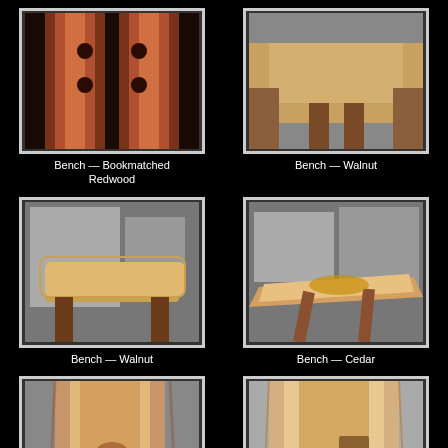[Figure (photo): Bookmatched redwood bench slab viewed from above showing two matching wood pieces with dark spots]
Bench — Bookmatched Redwood
[Figure (photo): Walnut bench with wooden legs photographed outdoors, partially cut off on right]
Bench — Walnut
[Figure (photo): Walnut live-edge bench with dark legs photographed outdoors on pavement]
Bench — Walnut
[Figure (photo): Cedar live-edge bench with natural grain photographed outdoors]
Bench — Cedar
[Figure (photo): Close-up of a live-edge wood slab with natural bark edge]
[Figure (photo): Close-up of a light colored live-edge wood slab with natural grain]